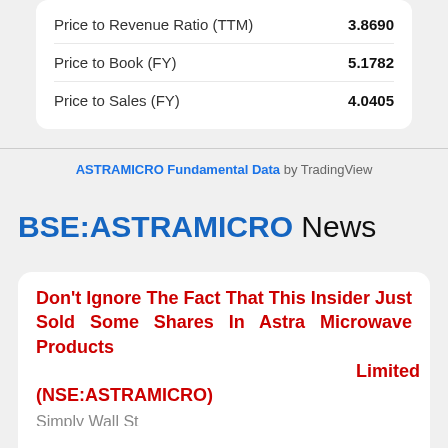| Metric | Value |
| --- | --- |
| Price to Revenue Ratio (TTM) | 3.8690 |
| Price to Book (FY) | 5.1782 |
| Price to Sales (FY) | 4.0405 |
ASTRAMICRO Fundamental Data by TradingView
BSE:ASTRAMICRO News
Don't Ignore The Fact That This Insider Just Sold Some Shares In Astra Microwave Products Limited (NSE:ASTRAMICRO) Simply Wall St Wed, 31 Aug 2022